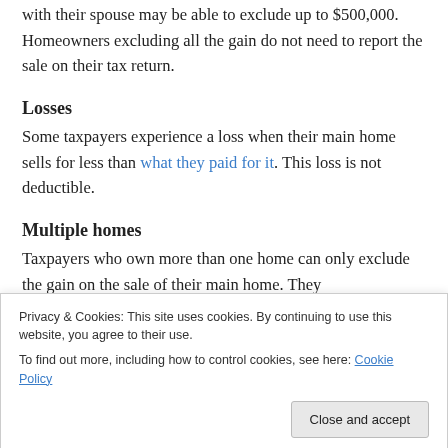with their spouse may be able to exclude up to $500,000. Homeowners excluding all the gain do not need to report the sale on their tax return.
Losses
Some taxpayers experience a loss when their main home sells for less than what they paid for it. This loss is not deductible.
Multiple homes
Taxpayers who own more than one home can only exclude the gain on the sale of their main home. They
Privacy & Cookies: This site uses cookies. By continuing to use this website, you agree to their use. To find out more, including how to control cookies, see here: Cookie Policy